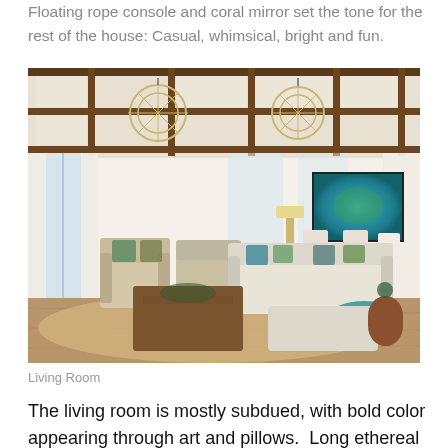Floating rope console and coral mirror set the tone for the rest of the house: Casual, whimsical, bright and fun.
[Figure (photo): Interior photo of a bright, spacious living room with coffered wood-beam ceiling, two large spherical wire chandeliers, tall white drapes, a large sectional sofa with teal/green patterned pillows, a square wood coffee table, two arm chairs with patterned pillows, a teal abstract painting on the wall, a dining area in the background, and a teal throw blanket draped over the sectional ottoman. The floors are hardwood with a large natural fiber rug.]
Living Room
The living room is mostly subdued, with bold color appearing through art and pillows.  Long ethereal drapes soften the exp...